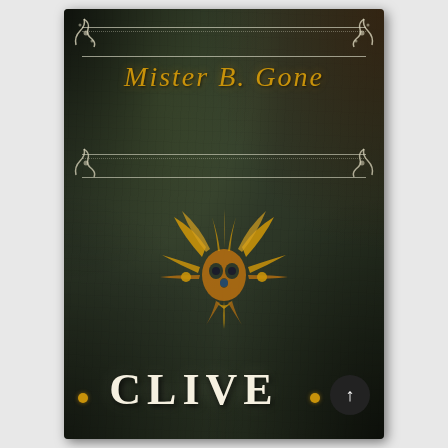[Figure (illustration): Book cover of 'Mister B. Gone' by Clive Barker. Dark olive-green textured background resembling an aged tome. Decorative white border frames at top and middle of cover. Corner scroll ornaments in white. Title 'Mister B. Gone' in italic golden/amber blackletter font. Central demonic skull/face emblem in golden-orange. Author name 'CLIVE' in large white serif capitals at the bottom. Small golden dot ornaments flank the author name. A dark circular scroll-up button overlays the bottom-right corner.]